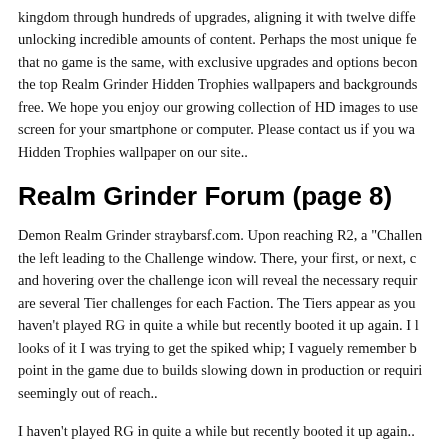kingdom through hundreds of upgrades, aligning it with twelve diffe... unlocking incredible amounts of content. Perhaps the most unique fe... that no game is the same, with exclusive upgrades and options becom... the top Realm Grinder Hidden Trophies wallpapers and backgrounds... free. We hope you enjoy our growing collection of HD images to use... screen for your smartphone or computer. Please contact us if you wa... Hidden Trophies wallpaper on our site..
Realm Grinder Forum (page 8)
Demon Realm Grinder straybarsf.com. Upon reaching R2, a "Challen... the left leading to the Challenge window. There, your first, or next, c... and hovering over the challenge icon will reveal the necessary requir... are several Tier challenges for each Faction. The Tiers appear as you... haven't played RG in quite a while but recently booted it up again. I l... looks of it I was trying to get the spiked whip; I vaguely remember b... point in the game due to builds slowing down in production or requir... seemingly out of reach..
I haven't played RG in quite a while but recently booted it up again...